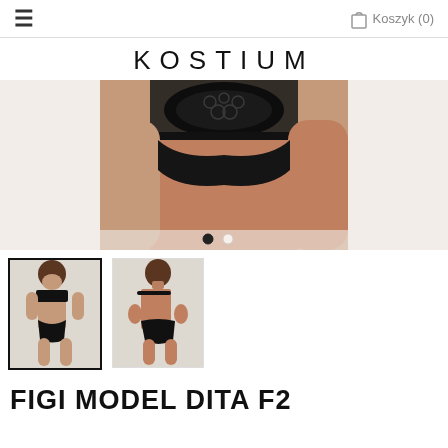≡  Koszyk (0)
KOSTIUM
[Figure (photo): Close-up product photo of woman wearing black lace lingerie panties, showing midsection and thighs, with carousel navigation dots below]
[Figure (photo): Thumbnail image (selected/active) showing front view of model wearing black lace bra and panties set]
[Figure (photo): Thumbnail image showing back view of model wearing black lace bra and panties set]
FIGI MODEL DITA F2